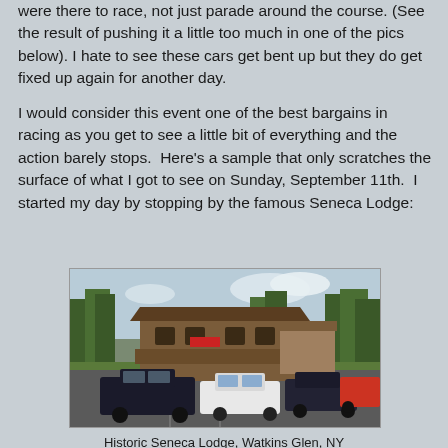were there to race, not just parade around the course. (See the result of pushing it a little too much in one of the pics below). I hate to see these cars get bent up but they do get fixed up again for another day.

I would consider this event one of the best bargains in racing as you get to see a little bit of everything and the action barely stops.  Here's a sample that only scratches the surface of what I got to see on Sunday, September 11th.  I started my day by stopping by the famous Seneca Lodge:
[Figure (photo): Exterior photo of Historic Seneca Lodge, a log cabin style building with a parking lot containing several cars including a white sedan and dark pickup truck, surrounded by trees.]
Historic Seneca Lodge, Watkins Glen, NY
Many After Race Parties Held Here